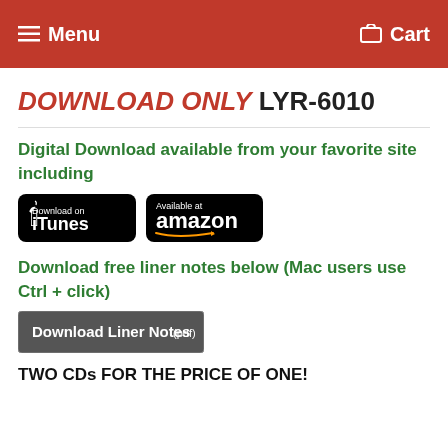Menu   Cart
DOWNLOAD ONLY LYR-6010
Digital Download available from your favorite site including
[Figure (logo): iTunes download badge and Amazon available badge side by side]
Download free liner notes below (Mac users use Ctrl + click)
[Figure (screenshot): Download Liner Notes (pdf) button]
TWO CDs FOR THE PRICE OF ONE!